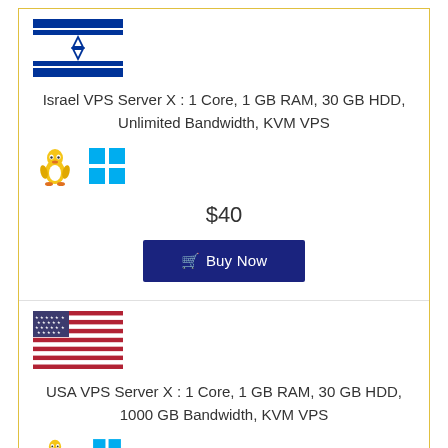[Figure (illustration): Israel flag icon]
Israel VPS Server X : 1 Core, 1 GB RAM, 30 GB HDD, Unlimited Bandwidth, KVM VPS
[Figure (illustration): Linux penguin and Windows logo OS icons]
$40
Buy Now
[Figure (illustration): USA flag icon]
USA VPS Server X : 1 Core, 1 GB RAM, 30 GB HDD, 1000 GB Bandwidth, KVM VPS
[Figure (illustration): Linux penguin and Windows logo OS icons]